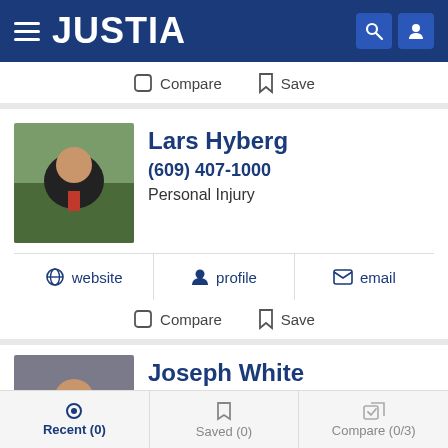JUSTIA
Compare  Save
Lars Hyberg
(609) 407-1000
Personal Injury
website  profile  email
Compare  Save
Joseph White
(609) 407-1000  Free Consultation
Workers' Comp
Recent (0)  Saved (0)  Compare (0/3)